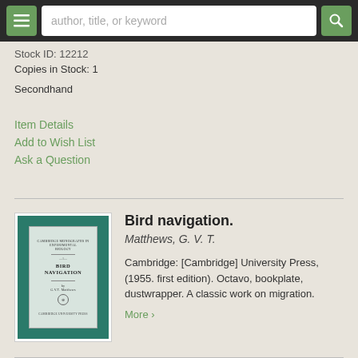author, title, or keyword
Stock ID: 12212
Copies in Stock: 1
Secondhand
Item Details
Add to Wish List
Ask a Question
[Figure (photo): Book cover of 'Bird Navigation' by G.V.T. Matthews, Cambridge Monographs in Experimental Biology series, Cambridge University Press, teal/green cover with cream inner title page]
Bird navigation.
Matthews, G. V. T.
Cambridge: [Cambridge] University Press, (1955. first edition). Octavo, bookplate, dustwrapper. A classic work on migration.
More >